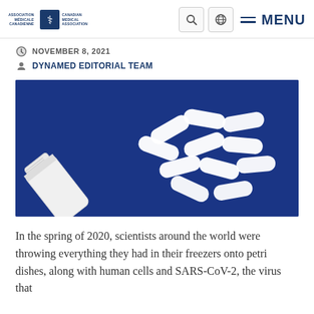Canadian Medical Association / Association Médicale Canadienne — MENU
NOVEMBER 8, 2021
DYNAMED EDITORIAL TEAM
[Figure (photo): White pill capsules spilling out of a white bottle onto a dark blue background.]
In the spring of 2020, scientists around the world were throwing everything they had in their freezers onto petri dishes, along with human cells and SARS-CoV-2, the virus that